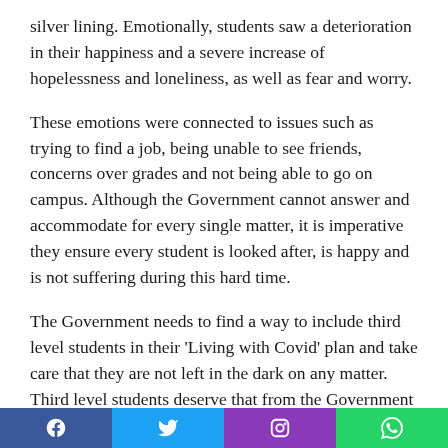silver lining. Emotionally, students saw a deterioration in their happiness and a severe increase of hopelessness and loneliness, as well as fear and worry.
These emotions were connected to issues such as trying to find a job, being unable to see friends, concerns over grades and not being able to go on campus. Although the Government cannot answer and accommodate for every single matter, it is imperative they ensure every student is looked after, is happy and is not suffering during this hard time.
The Government needs to find a way to include third level students in their 'Living with Covid' plan and take care that they are not left in the dark on any matter. Third level students deserve that from the Government and have the right to be treated in a way so that they are not left out and feel as though they can be looked after,
[Figure (other): Social media sharing bar with Facebook, Twitter, Instagram, and WhatsApp buttons]